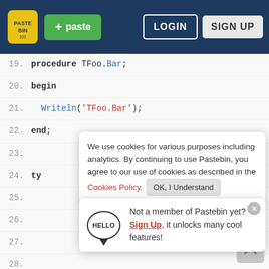Pastebin header with logo, paste button, LOGIN and SIGN UP buttons
19.  procedure TFoo.Bar;
20.  begin
21.    Writeln('TFoo.Bar');
22.  end;
23.
24.  ty
25.
26.
27.
28.
29.
30.
31.    PMethodIntercept = ^TMethodIntercept;
32.    TMethodIntercept = record
33.      Method: TRttiMethod;
34.      Impl: TMethodImplementation;
35.      Intercept: Pointer;
We use cookies for various purposes including analytics. By continuing to use Pastebin, you agree to our use of cookies as described in the Cookies Policy. OK, I Understand
Not a member of Pastebin yet? Sign Up, it unlocks many cool features!